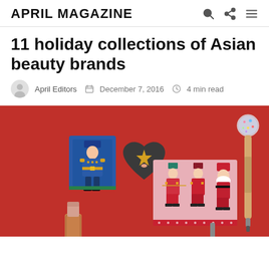APRIL MAGAZINE
11 holiday collections of Asian beauty brands
April Editors  December 7, 2016  4 min read
[Figure (photo): Holiday beauty products on a red background including nutcracker themed packaging, heart-shaped makeup compact, decorated lipstick, and a glitter wand pen arranged on a red surface]